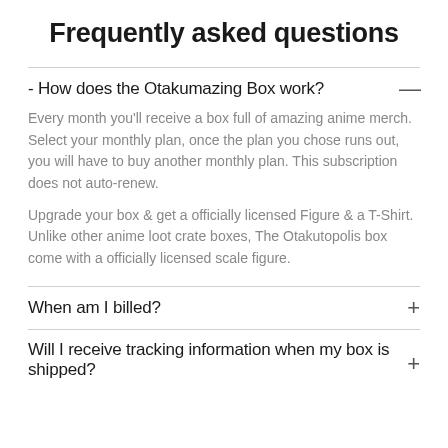Frequently asked questions
- How does the Otakumazing Box work?
Every month you'll receive a box full of amazing anime merch. Select your monthly plan, once the plan you chose runs out, you will have to buy another monthly plan. This subscription does not auto-renew.
Upgrade your box & get a officially licensed Figure & a T-Shirt. Unlike other anime loot crate boxes, The Otakutopolis box come with a officially licensed scale figure.
When am I billed?
Will I receive tracking information when my box is shipped?